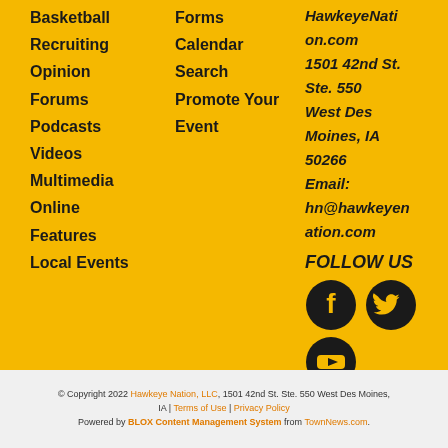Basketball
Recruiting
Opinion
Forums
Podcasts
Videos
Multimedia
Online Features
Local Events
Forms
Calendar
Search
Promote Your Event
HawkeyeNation.com
1501 42nd St. Ste. 550
West Des Moines, IA 50266
Email:
hn@hawkeyenation.com
FOLLOW US
[Figure (illustration): Facebook, Twitter, and YouTube social media icons in black circles on gold background]
© Copyright 2022 Hawkeye Nation, LLC, 1501 42nd St. Ste. 550 West Des Moines, IA | Terms of Use | Privacy Policy
Powered by BLOX Content Management System from TownNews.com.